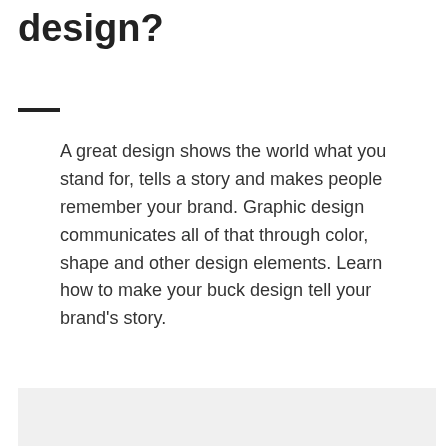design?
A great design shows the world what you stand for, tells a story and makes people remember your brand. Graphic design communicates all of that through color, shape and other design elements. Learn how to make your buck design tell your brand’s story.
[Figure (other): Light gray rectangular image placeholder at the bottom of the page]